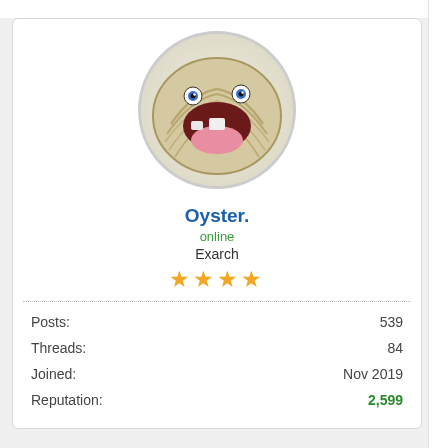08-17-2021, 07:08 AM (This post was last modified: 0...
[Figure (illustration): Cartoon oyster avatar with eyes and open mouth, circular crop]
Oyster.
online
Exarch
★★★★
| Posts: | 539 |
| Threads: | 84 |
| Joined: | Nov 2019 |
| Reputation: | 2,599 |
[Figure (illustration): Large cute pink cartoon character (blob/kirby-like) with black eye and small smile, partially visible on the right side of the page]